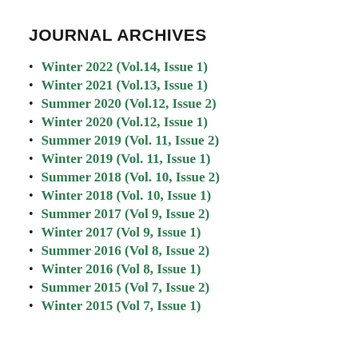JOURNAL ARCHIVES
Winter 2022 (Vol.14, Issue 1)
Winter 2021 (Vol.13, Issue 1)
Summer 2020 (Vol.12, Issue 2)
Winter 2020 (Vol.12, Issue 1)
Summer 2019 (Vol. 11, Issue 2)
Winter 2019 (Vol. 11, Issue 1)
Summer 2018 (Vol. 10, Issue 2)
Winter 2018 (Vol. 10, Issue 1)
Summer 2017 (Vol 9, Issue 2)
Winter 2017 (Vol 9, Issue 1)
Summer 2016 (Vol 8, Issue 2)
Winter 2016 (Vol 8, Issue 1)
Summer 2015 (Vol 7, Issue 2)
Winter 2015 (Vol 7, Issue 1)